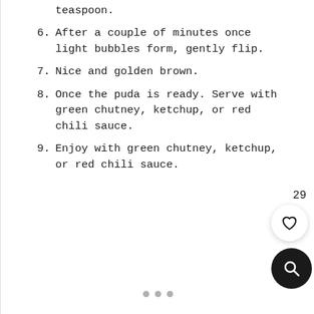teaspoon.
6. After a couple of minutes once light bubbles form, gently flip.
7. Nice and golden brown.
8. Once the puda is ready. Serve with green chutney, ketchup, or red chili sauce.
9. Enjoy with green chutney, ketchup, or red chili sauce.
29